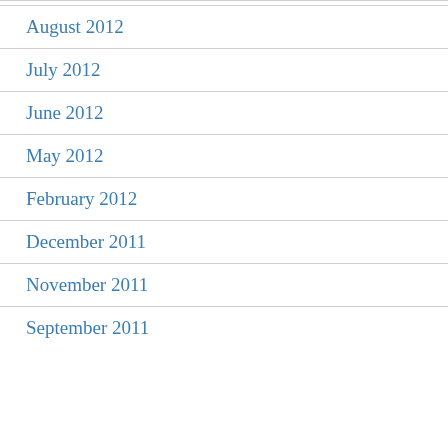August 2012
July 2012
June 2012
May 2012
February 2012
December 2011
November 2011
September 2011